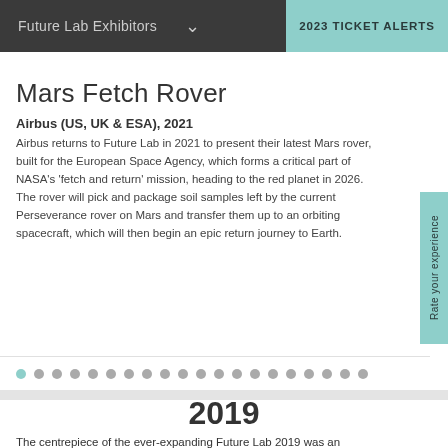Future Lab Exhibitors   2023 TICKET ALERTS
Mars Fetch Rover
Airbus (US, UK & ESA), 2021
Airbus returns to Future Lab in 2021 to present their latest Mars rover, built for the European Space Agency, which forms a critical part of NASA's 'fetch and return' mission, heading to the red planet in 2026. The rover will pick and package soil samples left by the current Perseverance rover on Mars and transfer them up to an orbiting spacecraft, which will then begin an epic return journey to Earth.
2019
The centrepiece of the ever-expanding Future Lab 2019 was an